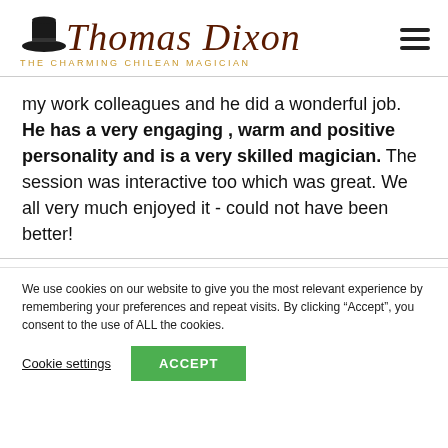[Figure (logo): Thomas Dixon logo with top hat illustration and cursive text 'Thomas Dixon' in dark brown, tagline 'THE CHARMING CHILEAN MAGICIAN' in gold]
my work colleagues and he did a wonderful job. He has a very engaging , warm and positive personality and is a very skilled magician. The session was interactive too which was great. We all very much enjoyed it - could not have been better!
We use cookies on our website to give you the most relevant experience by remembering your preferences and repeat visits. By clicking “Accept”, you consent to the use of ALL the cookies.
Cookie settings   ACCEPT